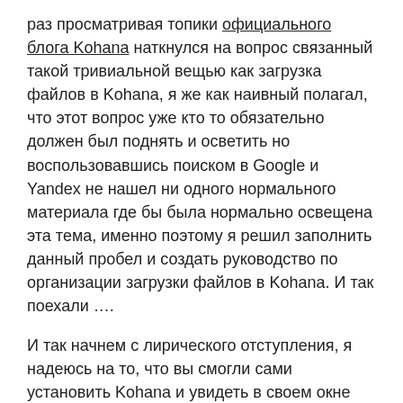раз просматривая топики официального блога Kohana наткнулся на вопрос связанный такой тривиальной вещью как загрузка файлов в Kohana, я же как наивный полагал, что этот вопрос уже кто то обязательно должен был поднять и осветить но воспользовавшись поиском в Google и Yandex не нашел ни одного нормального материала где бы была нормально освещена эта тема, именно поэтому я решил заполнить данный пробел и создать руководство по организации загрузки файлов в Kohana. И так поехали ….
И так начнем с лирического отступления, я надеюсь на то, что вы смогли сами установить Kohana и увидеть в своем окне «hello, world!» :) …
В этой части статьи мы с вами создадим простое приложение на Kohana которое сможет загружать на